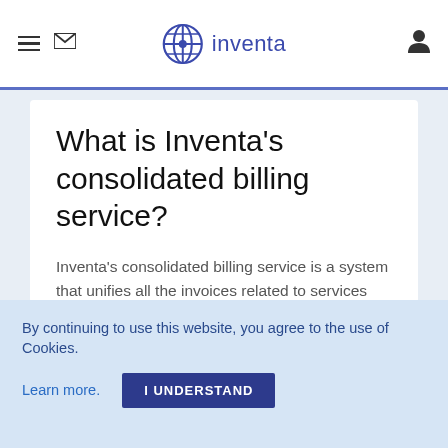inventa
What is Inventa's consolidated billing service?
Inventa's consolidated billing service is a system that unifies all the invoices related to services provided by our company. Thus, the entire payment process is simplified through the issuing of a single invoice that can be sent within the deadlines agreed with each client (e.g. once a
By continuing to use this website, you agree to the use of Cookies.
Learn more.
I UNDERSTAND